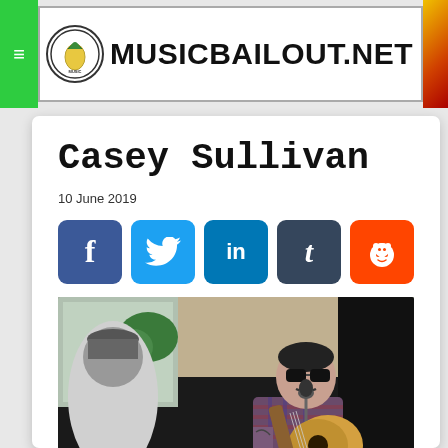MUSICBAILOUT.NET
Casey Sullivan
10 June 2019
[Figure (infographic): Social sharing buttons: Facebook (f), Twitter (bird), LinkedIn (in), Tumblr (t), Reddit (alien)]
[Figure (photo): A man with sunglasses playing acoustic guitar at a microphone, wearing a plaid shirt, performing outdoors. Another person is partially visible on the left.]